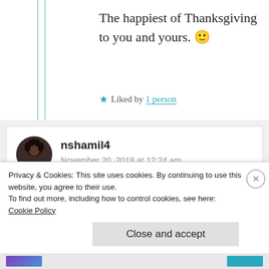The happiest of Thanksgiving to you and yours. 🙂
★ Liked by 1 person
nshamil4
November 20, 2018 at 12:24 am
Love. Best use of airport wait time
Privacy & Cookies: This site uses cookies. By continuing to use this website, you agree to their use.
To find out more, including how to control cookies, see here:
Cookie Policy
Close and accept